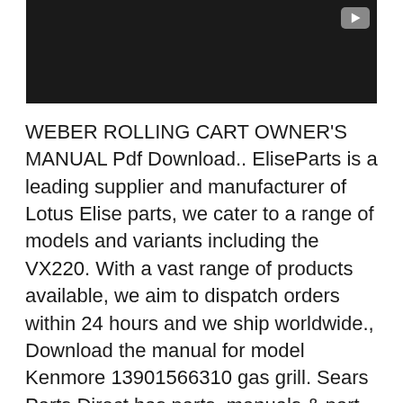[Figure (screenshot): Dark/black video player placeholder with a grey play button icon in the top-right corner]
WEBER ROLLING CART OWNER'S MANUAL Pdf Download.. EliseParts is a leading supplier and manufacturer of Lotus Elise parts, we cater to a range of models and variants including the VX220. With a vast range of products available, we aim to dispatch orders within 24 hours and we ship worldwide., Download the manual for model Kenmore 13901566310 gas grill. Sears Parts Direct has parts, manuals & part diagrams for all types of repair projects to help you fix your gas grill!.